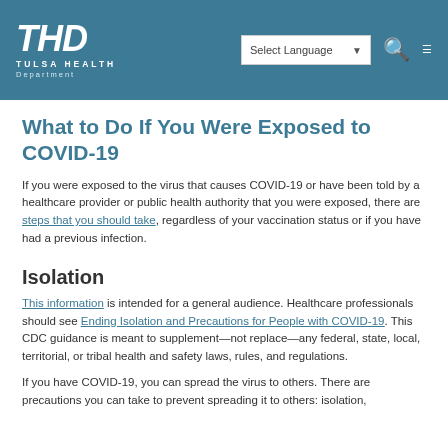Tulsa Health Department
What to Do If You Were Exposed to COVID-19
If you were exposed to the virus that causes COVID-19 or have been told by a healthcare provider or public health authority that you were exposed, there are steps that you should take, regardless of your vaccination status or if you have had a previous infection.
Isolation
This information is intended for a general audience. Healthcare professionals should see Ending Isolation and Precautions for People with COVID-19. This CDC guidance is meant to supplement—not replace—any federal, state, local, territorial, or tribal health and safety laws, rules, and regulations.
If you have COVID-19, you can spread the virus to others. There are precautions you can take to prevent spreading it to others: isolation,